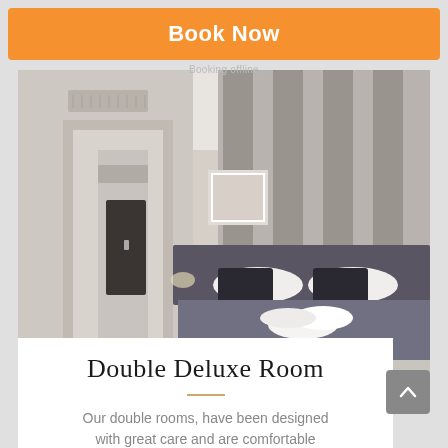Book Now
Booking offline
[Figure (photo): Hotel double deluxe room interior with dark charcoal bed, black and white striped accent wall, framed artwork, dark door leading to hallway, white folded towels on bed]
Double Deluxe Room
Our double rooms, have been designed with great care and are comfortable